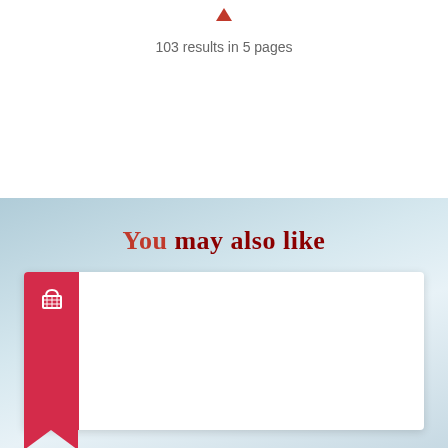103 results in 5 pages
You may also like
[Figure (illustration): A white card with a red ribbon/bookmark on the left side containing a basket icon, shown against a light blue gradient background.]